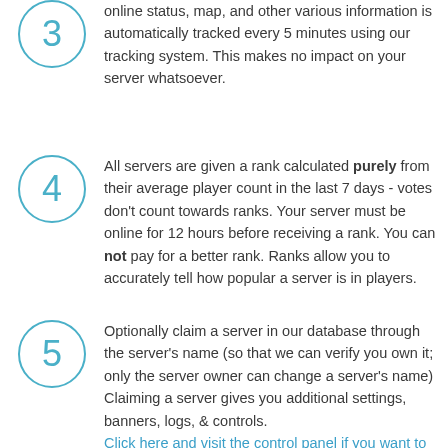online status, map, and other various information is automatically tracked every 5 minutes using our tracking system. This makes no impact on your server whatsoever.
All servers are given a rank calculated purely from their average player count in the last 7 days - votes don't count towards ranks. Your server must be online for 12 hours before receiving a rank. You can not pay for a better rank. Ranks allow you to accurately tell how popular a server is in players.
Optionally claim a server in our database through the server's name (so that we can verify you own it; only the server owner can change a server's name) Claiming a server gives you additional settings, banners, logs, & controls. Click here and visit the control panel if you want to claim your servers.